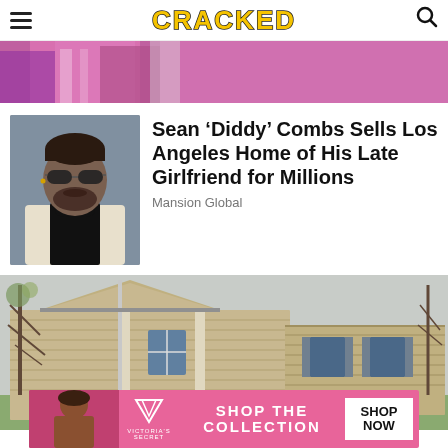CRACKED
[Figure (photo): Partial top strip showing colorful clothing, cropped image]
Sean ‘Diddy’ Combs Sells Los Angeles Home of His Late Girlfriend for Millions
Mansion Global
[Figure (photo): Portrait photo of Sean 'Diddy' Combs wearing sunglasses and a bow tie]
[Figure (photo): Exterior photo of a beige/tan sided two-story house with trees in background]
[Figure (photo): Victoria's Secret advertisement banner: SHOP THE COLLECTION with SHOP NOW button]